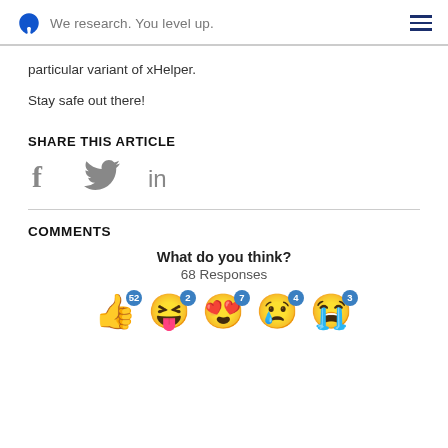We research. You level up.
particular variant of xHelper.
Stay safe out there!
SHARE THIS ARTICLE
[Figure (infographic): Social share icons: Facebook (f), Twitter (bird), LinkedIn (in)]
COMMENTS
What do you think?
68 Responses
[Figure (infographic): Emoji reaction row: thumbs up (52), laughing (2), heart eyes (7), sad (4), crying (3)]